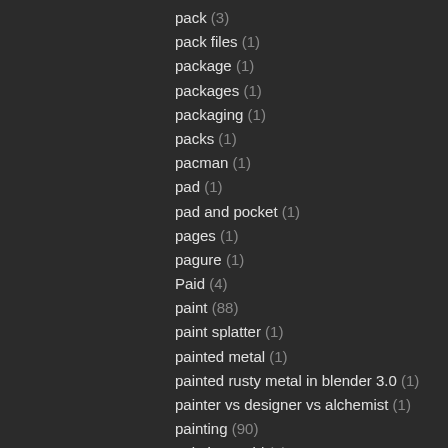pack (3)
pack files (1)
package (1)
packages (1)
packaging (1)
packs (1)
pacman (1)
pad (1)
pad and pocket (1)
pages (1)
pagure (1)
Paid (4)
paint (88)
paint splatter (1)
painted metal (1)
painted rusty metal in blender 3.0 (1)
painter vs designer vs alchemist (1)
painting (90)
painting a girl (1)
painting for beginners (1)
painting texture (1)
painting using stencil in blender 3d (1)
pan screen (1)